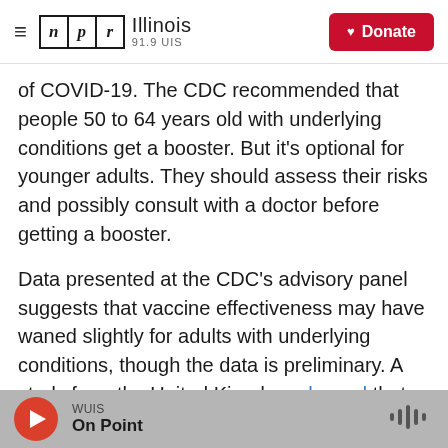NPR Illinois 91.9 UIS — Donate
of COVID-19. The CDC recommended that people 50 to 64 years old with underlying conditions get a booster. But it's optional for younger adults. They should assess their risks and possibly consult with a doctor before getting a booster.
Data presented at the CDC's advisory panel suggests that vaccine effectiveness may have waned slightly for adults with underlying conditions, though the data is preliminary. A study from the United Kingdom showed that waning is the greatest in older people (those over 64) who have medical conditions that put them at high risk for
WUIS — On Point